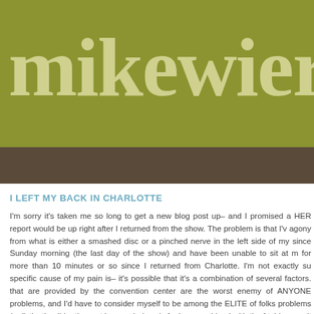[Figure (logo): Blog header banner with olive/yellow-green background and large serif text reading 'mikewieri' (truncated by page edge)]
I LEFT MY BACK IN CHARLOTTE
I'm sorry it's taken me so long to get a new blog post up– and I promised a HER report would be up right after I returned from the show. The problem is that I've agony from what is either a smashed disc or a pinched nerve in the left side of my since Sunday morning (the last day of the show) and have been unable to sit at my for more than 10 minutes or so since I returned from Charlotte. I'm not exactly sur specific cause of my pain is– it's possible that it's a combination of several factors. that are provided by the convention center are the worst enemy of ANYONE problems, and I'd have to consider myself to be among the ELITE of folks problems (a distinction I'd rather not have, mind you). And so, combined with the fa tables aren't able to swivel to an angle like my drawing table at home is, it's a reci of back pain. I've ended each day at almost every major multi-day show I've bee last 5 years or so barely able to walk after the show closes. Another factor, d